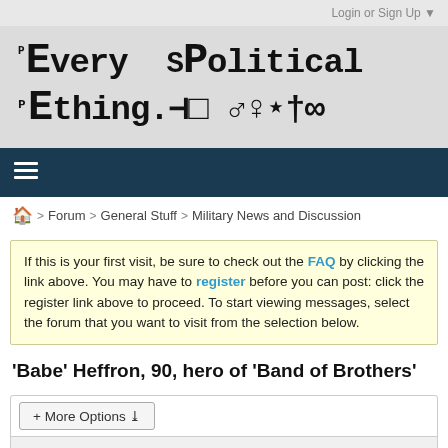Login or Sign Up ▼
[Figure (logo): Not Every sPolitical thing logo with symbols ♂♀★†∞]
[Figure (other): Navy blue navigation bar with hamburger menu icon]
🏠 > Forum > General Stuff > Military News and Discussion
If this is your first visit, be sure to check out the FAQ by clicking the link above. You may have to register before you can post: click the register link above to proceed. To start viewing messages, select the forum that you want to visit from the selection below.
'Babe' Heffron, 90, hero of 'Band of Brothers'
+ More Options ▾
Filter ▼